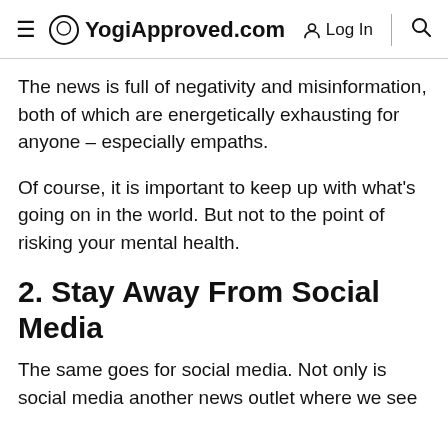YogiApproved.com  Log In
The news is full of negativity and misinformation, both of which are energetically exhausting for anyone – especially empaths.
Of course, it is important to keep up with what's going on in the world. But not to the point of risking your mental health.
2. Stay Away From Social Media
The same goes for social media. Not only is social media another news outlet where we see